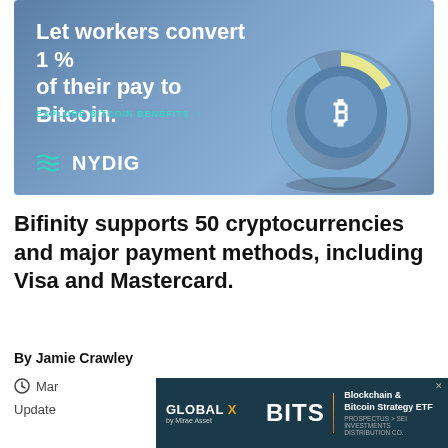[Figure (infographic): NYDIG advertisement banner with gradient blue background. Large white headline text reads 'Let workers convert 1 % of their pay to Bitcoin.' with a teal CTA link 'EXPLORE BITCOIN BENEFITS' and a donut chart graphic showing 1% slice in yellow on a blue donut ring with a Bitcoin logo in the center. NYDIG logo in bottom left with teal icon.]
Bifinity supports 50 cryptocurrencies and major payment methods, including Visa and Mastercard.
By Jamie Crawley
Mar
Update
[Figure (infographic): Global X by Mirae Asset advertisement for BITS Blockchain & Bitcoin Strategy ETF. Dark teal/navy background. Left side shows 'GLOBAL X' in white bold with orange X and 'by Mirae Asset' in smaller text. Right side shows 'BITS' in large white bold letters next to orange vertical bar and text 'Blockchain & Bitcoin Strategy ETF' with 'PROSPECTUS > SEI INVESTMENTS DISTRIBUTION CO.' in smaller text below. Small X close button in top right corner.]